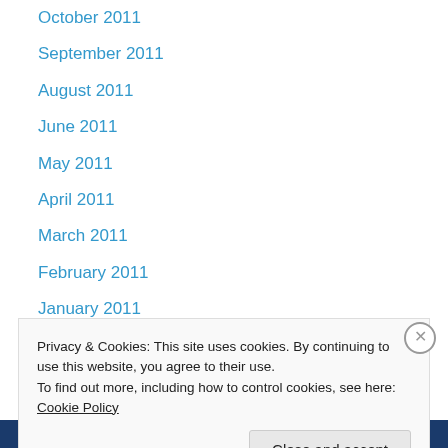October 2011
September 2011
August 2011
June 2011
May 2011
April 2011
March 2011
February 2011
January 2011
December 2010
November 2010
October 2010
September 2010
Privacy & Cookies: This site uses cookies. By continuing to use this website, you agree to their use. To find out more, including how to control cookies, see here: Cookie Policy
Close and accept